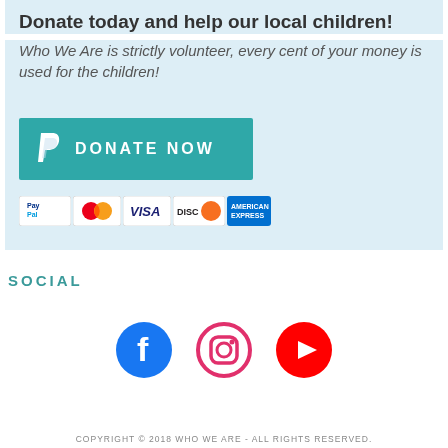Donate today and help our local children!
Who We Are is strictly volunteer, every cent of your money is used for the children!
[Figure (other): Teal PayPal donate button with PayPal logo and text DONATE NOW]
[Figure (other): Row of payment method logos: PayPal, Mastercard, Visa, Discover, American Express]
SOCIAL
[Figure (other): Social media icons: Facebook (blue circle with F), Instagram (pink circle outline with camera), YouTube (red circle with play triangle)]
COPYRIGHT © 2018 WHO WE ARE - ALL RIGHTS RESERVED.